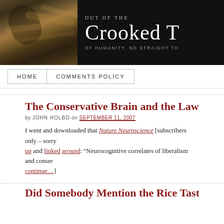[Figure (other): Blog header banner with gnarled wood texture on left and dark background with site title text on right]
Out of the CROOKED T[IMBER] OF HUMANITY, NO STRAIGHT TH[ING...]
HOME   COMMENTS POLICY
The Conservative Brain and the Laws of Motio[n]
by JOHN HOLBO on SEPTEMBER 11, 2007
I went and downloaded that Nature Neuroscience [subscribers only – sorry] up and linked around: "Neurocognitive correlates of liberalism and conser... continue…]
Did Somebody Mention the Rice Tasting Mir...